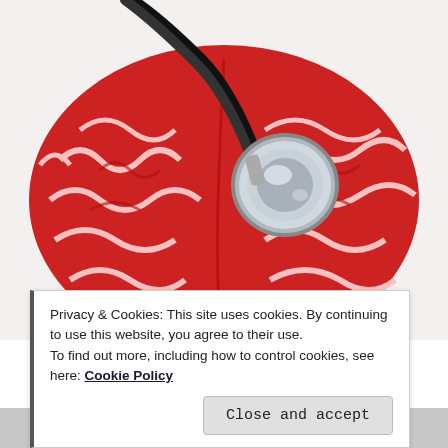[Figure (photo): Red anatomical brain model with a stethoscope placed on top, photographed against a white background]
Privacy & Cookies: This site uses cookies. By continuing to use this website, you agree to their use.
To find out more, including how to control cookies, see here: Cookie Policy
[Figure (photo): Partial view of a person's head/face at the bottom of the page]